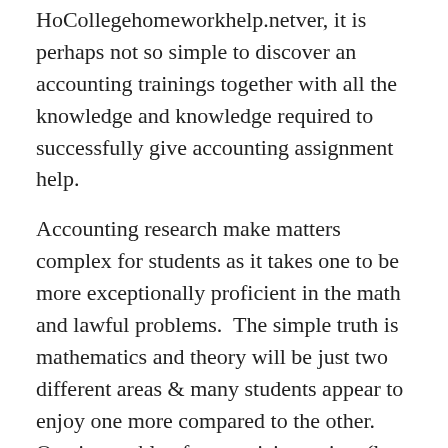HoCollegehomeworkhelp.netver, it is perhaps not so simple to discover an accounting trainings together with all the knowledge and knowledge required to successfully give accounting assignment help.
Accounting research make matters complex for students as it takes one to be more exceptionally proficient in the math and lawful problems.  The simple truth is mathematics and theory will be just two different areas & many students appear to enjoy one more compared to the other. One is capable of memorizing points (law, etc.) or will be proficient at maths. Accounting requires you to become useful at both the two areas,
which regularly challenges lots of accounting students drop from the center of the session.
Most students don't do out with all the class only because